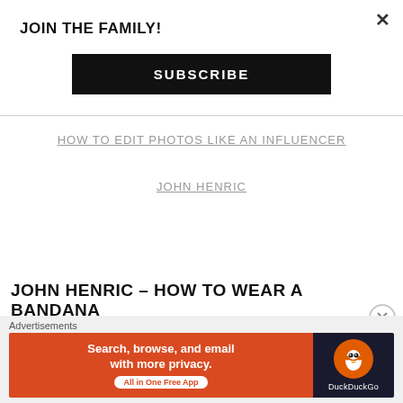×
JOIN THE FAMILY!
SUBSCRIBE
HOW TO EDIT PHOTOS LIKE AN INFLUENCER
JOHN HENRIC
JOHN HENRIC – HOW TO WEAR A BANDANA
Advertisements
[Figure (screenshot): DuckDuckGo advertisement banner: orange left panel with text 'Search, browse, and email with more privacy. All in One Free App' and dark right panel with DuckDuckGo duck logo and brand name.]